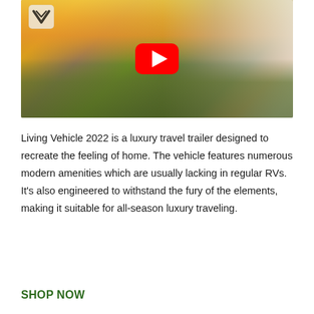[Figure (screenshot): YouTube video thumbnail showing a luxury RV travel trailer parked outdoors in a golden sunset landscape with grass and shrubs. A couple stands at the open slide-out. Living Vehicle logo visible top-left. Red YouTube play button centered.]
Living Vehicle 2022 is a luxury travel trailer designed to recreate the feeling of home. The vehicle features numerous modern amenities which are usually lacking in regular RVs. It's also engineered to withstand the fury of the elements, making it suitable for all-season luxury traveling.
SHOP NOW